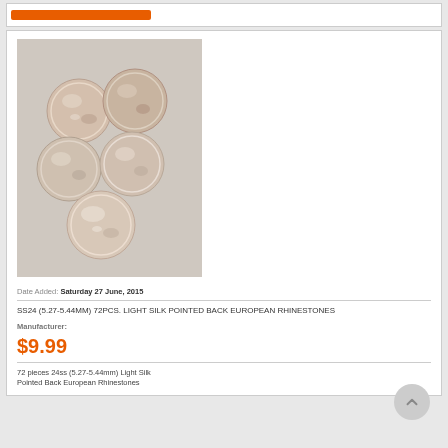[Figure (photo): Five round faceted rhinestones with light silk/champagne color arranged in a cluster on a gray background]
Date Added: Saturday 27 June, 2015
SS24 (5.27-5.44MM) 72PCS. LIGHT SILK POINTED BACK EUROPEAN RHINESTONES
Manufacturer:
$9.99
72 pieces 24ss (5.27-5.44mm) Light Silk Pointed Back European Rhinestones